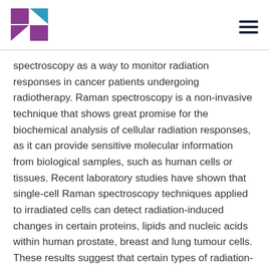[Figure (logo): Institution logo with purple and teal geometric square pattern]
spectroscopy as a way to monitor radiation responses in cancer patients undergoing radiotherapy. Raman spectroscopy is a non-invasive technique that shows great promise for the biochemical analysis of cellular radiation responses, as it can provide sensitive molecular information from biological samples, such as human cells or tissues. Recent laboratory studies have shown that single-cell Raman spectroscopy techniques applied to irradiated cells can detect radiation-induced changes in certain proteins, lipids and nucleic acids within human prostate, breast and lung tumour cells. These results suggest that certain types of radiation-induced biochemical changes measured with Raman spectroscopy are